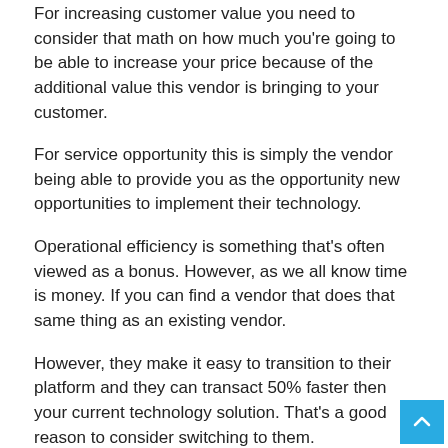For increasing customer value you need to consider that math on how much you're going to be able to increase your price because of the additional value this vendor is bringing to your customer.
For service opportunity this is simply the vendor being able to provide you as the opportunity new opportunities to implement their technology.
Operational efficiency is something that's often viewed as a bonus. However, as we all know time is money. If you can find a vendor that does that same thing as an existing vendor.
However, they make it easy to transition to their platform and they can transact 50% faster then your current technology solution. That's a good reason to consider switching to them.
Christian: Those seem like really solid foundations to a